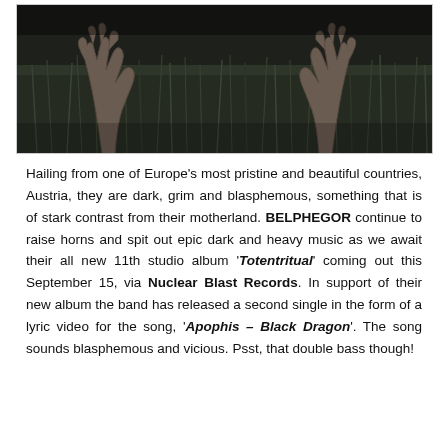[Figure (photo): Dark photograph showing hands and figures reaching upward from grass/field, moody and dark toned image]
Hailing from one of Europe's most pristine and beautiful countries, Austria, they are dark, grim and blasphemous, something that is of stark contrast from their motherland. BELPHEGOR continue to raise horns and spit out epic dark and heavy music as we await their all new 11th studio album 'Totentritual' coming out this September 15, via Nuclear Blast Records. In support of their new album the band has released a second single in the form of a lyric video for the song, 'Apophis – Black Dragon'. The song sounds blasphemous and vicious. Psst, that double bass though!